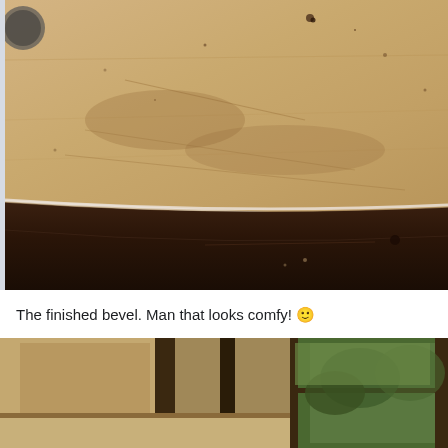[Figure (photo): Close-up photo of a wooden surface (top of furniture) with scratches, dust, and dark spots, showing a curved dark beveled edge at the bottom of the frame]
The finished bevel. Man that looks comfy! 🙂
[Figure (photo): Partially visible photo at bottom showing a wooden workshop or interior scene with greenery visible through windows in the background]